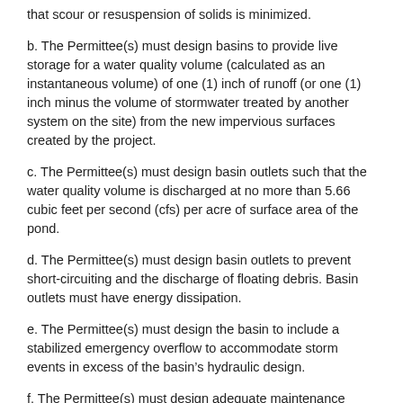that scour or resuspension of solids is minimized.
b. The Permittee(s) must design basins to provide live storage for a water quality volume (calculated as an instantaneous volume) of one (1) inch of runoff (or one (1) inch minus the volume of stormwater treated by another system on the site) from the new impervious surfaces created by the project.
c. The Permittee(s) must design basin outlets such that the water quality volume is discharged at no more than 5.66 cubic feet per second (cfs) per acre of surface area of the pond.
d. The Permittee(s) must design basin outlets to prevent short-circuiting and the discharge of floating debris. Basin outlets must have energy dissipation.
e. The Permittee(s) must design the basin to include a stabilized emergency overflow to accommodate storm events in excess of the basin’s hydraulic design.
f. The Permittee(s) must design adequate maintenance access (typically eight (8) feet wide).